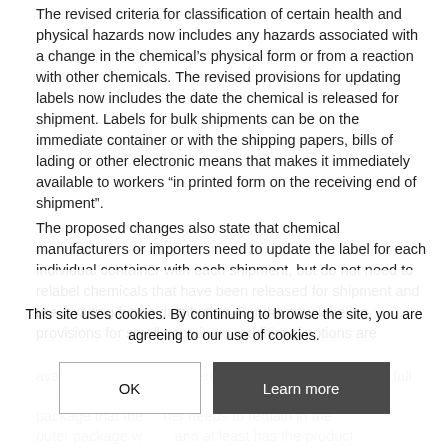The revised criteria for classification of certain health and physical hazards now includes any hazards associated with a change in the chemical’s physical form or from a reaction with other chemicals. The revised provisions for updating labels now includes the date the chemical is released for shipment. Labels for bulk shipments can be on the immediate container or with the shipping papers, bills of lading or other electronic means that makes it immediately available to workers “in printed form on the receiving end of shipment”.
The proposed changes also state that chemical manufacturers or importers need to update the label for each individual container with each shipment, but do not need to relabel chemicals that have been released for shipment and are awaiting future distribution. For the new labeling provisions for small containers, additional options are available in situations where it is not feasible to use the full … information on … on the outer package that the … ner needs to remain in the outer package w… and at least has the product identif… or on containers less than or equal to a ml.
This site uses cookies. By continuing to browse the site, you are agreeing to our use of cookies.